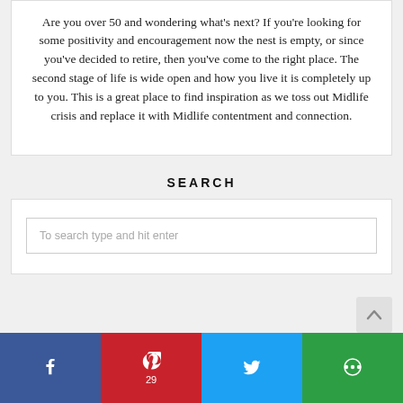Are you over 50 and wondering what’s next? If you’re looking for some positivity and encouragement now the nest is empty, or since you’ve decided to retire, then you’ve come to the right place. The second stage of life is wide open and how you live it is completely up to you. This is a great place to find inspiration as we toss out Midlife crisis and replace it with Midlife contentment and connection.
SEARCH
To search type and hit enter
[Figure (infographic): Social share bar with Facebook, Pinterest (29), Twitter, and More buttons]
[Figure (other): Scroll to top arrow button]